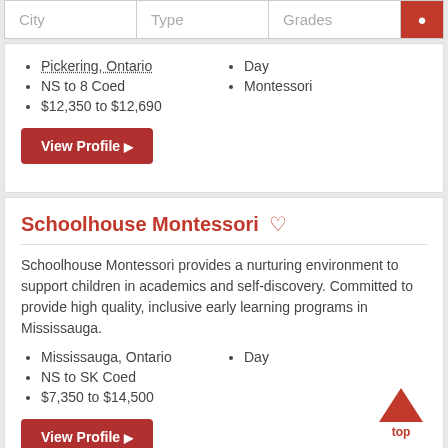| City | Type | Grades |  |
| --- | --- | --- | --- |
|  |
Pickering, Ontario
NS to 8 Coed
$12,350 to $12,690
Day
Montessori
View Profile
Schoolhouse Montessori
Schoolhouse Montessori provides a nurturing environment to support children in academics and self-discovery. Committed to provide high quality, inclusive early learning programs in Mississauga.
Mississauga, Ontario
NS to SK Coed
$7,350 to $14,500
Day
View Profile